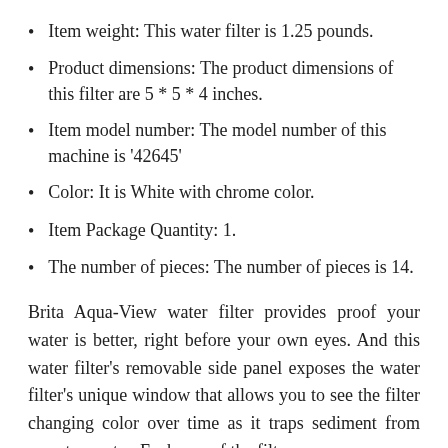Item weight: This water filter is 1.25 pounds.
Product dimensions: The product dimensions of this filter are 5 * 5 * 4 inches.
Item model number: The model number of this machine is '42645'
Color: It is White with chrome color.
Item Package Quantity: 1.
The number of pieces: The number of pieces is 14.
Brita Aqua-View water filter provides proof your water is better, right before your own eyes. And this water filter's removable side panel exposes the water filter's unique window that allows you to see the filter changing color over time as it traps sediment from your tap water. Each one of the filters